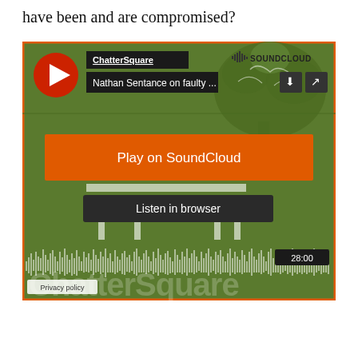have been and are compromised?
[Figure (screenshot): SoundCloud embedded player for ChatterSquare podcast episode 'Nathan Sentance on faulty...' with orange Play on SoundCloud button, Listen in browser button, waveform visualization showing 28:00 duration, and ChatterSquare watermark on green background.]